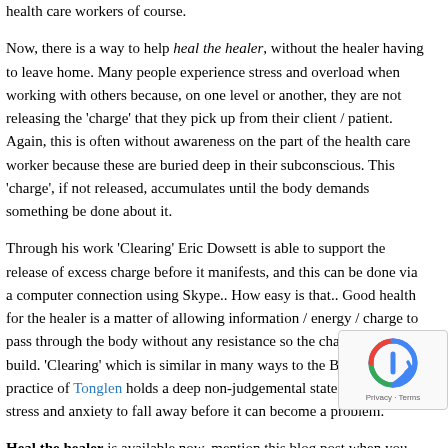health care workers of course.
Now, there is a way to help heal the healer, without the healer having to leave home. Many people experience stress and overload when working with others because, on one level or another, they are not releasing the 'charge' that they pick up from their client / patient. Again, this is often without awareness on the part of the health care worker because these are buried deep in their subconscious. This 'charge', if not released, accumulates until the body demands something be done about it.
Through his work 'Clearing' Eric Dowsett is able to support the release of excess charge before it manifests, and this can be done via a computer connection using Skype.. How easy is that.. Good health for the healer is a matter of allowing information / energy / charge to pass through the body without any resistance so the charge cannot build. 'Clearing' which is similar in many ways to the Buddhist practice of Tonglen holds a deep non-judgemental state that allows stress and anxiety to fall away before it can become a problem.
Heal the healer is available now, mention this blog post when you...